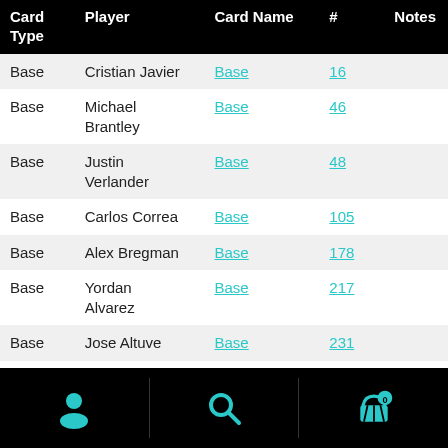| Card Type | Player | Card Name | # | Notes |
| --- | --- | --- | --- | --- |
| Base | Cristian Javier | Base | 16 |  |
| Base | Michael Brantley | Base | 46 |  |
| Base | Justin Verlander | Base | 48 |  |
| Base | Carlos Correa | Base | 105 |  |
| Base | Alex Bregman | Base | 178 |  |
| Base | Yordan Alvarez | Base | 217 |  |
| Base | Jose Altuve | Base | 231 |  |
| Base | Kyle Tucker | Base | 262 |  |
| Base | Zack Greinke | Base | 277 |  |